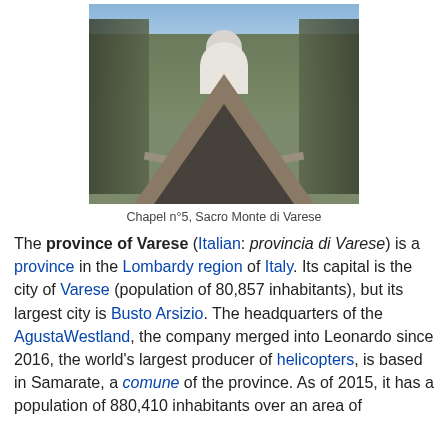[Figure (photo): Photograph of Chapel n°5 at Sacro Monte di Varese, showing a stone path leading to a white domed chapel building surrounded by bare winter trees, with a large shadow cast on the path in the foreground.]
Chapel n°5, Sacro Monte di Varese
The province of Varese (Italian: provincia di Varese) is a province in the Lombardy region of Italy. Its capital is the city of Varese (population of 80,857 inhabitants), but its largest city is Busto Arsizio. The headquarters of the AgustaWestland, the company merged into Leonardo since 2016, the world's largest producer of helicopters, is based in Samarate, a comune of the province. As of 2015, it has a population of 880,410 inhabitants over an area of